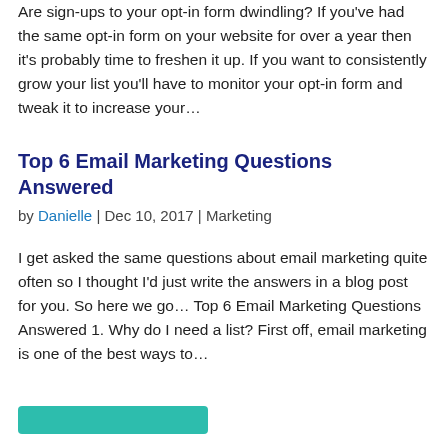Are sign-ups to your opt-in form dwindling? If you've had the same opt-in form on your website for over a year then it's probably time to freshen it up. If you want to consistently grow your list you'll have to monitor your opt-in form and tweak it to increase your…
Top 6 Email Marketing Questions Answered
by Danielle | Dec 10, 2017 | Marketing
I get asked the same questions about email marketing quite often so I thought I'd just write the answers in a blog post for you. So here we go… Top 6 Email Marketing Questions Answered 1. Why do I need a list? First off, email marketing is one of the best ways to…
[Figure (other): Teal/turquoise rounded rectangle button at the bottom of the page]